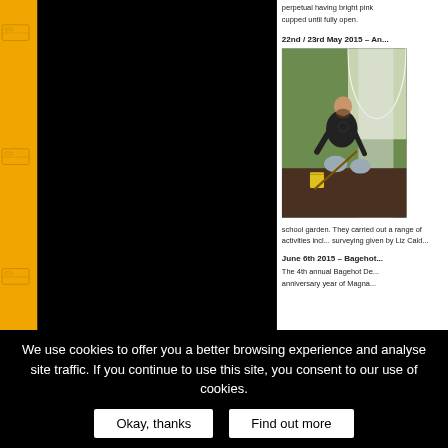perpetual having bright pink cupped until fully open.
22nd / 23rd May 2015 – An...
[Figure (photo): Man in dark t-shirt kneeling in a school garden, digging or planting near a polytunnel]
school garden. They carried out a range of activities including surveying given by Liz Cald...
June 6th 2015 – Bagehot...
The 4th annual Bagehot De... anniversary year of Magna...
We use cookies to offer you a better browsing experience and analyse site traffic. If you continue to use this site, you consent to our use of cookies.
Okay, thanks
Find out more